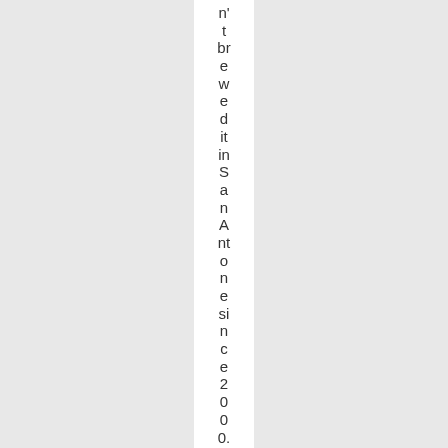n't brewed it in San Antonio since 2000. Get m